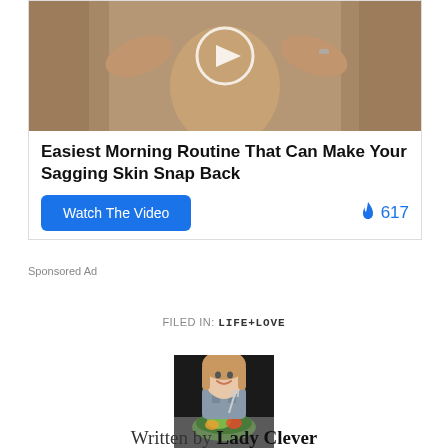[Figure (photo): Video thumbnail showing a person's face and hands against a bathroom mirror background, with a play button overlay circle]
Easiest Morning Routine That Can Make Your Sagging Skin Snap Back
Watch The Video   🔥 617
Sponsored Ad
FILED IN: LIFE+LOVE
[Figure (photo): Woman smiling and holding a fork with a bowl of salad with avocado and vegetables]
Written by Lady Clever